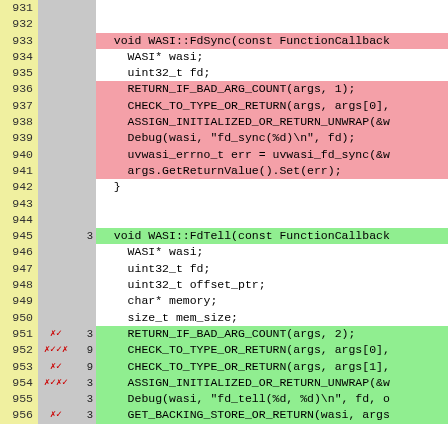[Figure (screenshot): Code coverage diff view showing lines 931-956 of a C++ source file implementing WASI::FdSync and WASI::FdTell functions. Lines 933-941 are highlighted red (removed/uncovered), lines 945-956 are highlighted green (added/covered). Left columns show line numbers (yellow background), mutation test marks (red x/checkmark symbols), and hit counts.]